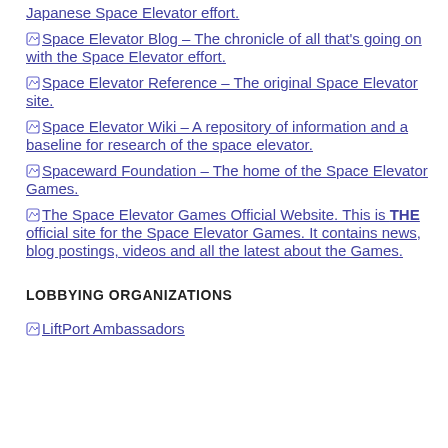Japanese Space Elevator effort.
Space Elevator Blog – The chronicle of all that's going on with the Space Elevator effort.
Space Elevator Reference – The original Space Elevator site.
Space Elevator Wiki – A repository of information and a baseline for research of the space elevator.
Spaceward Foundation – The home of the Space Elevator Games.
The Space Elevator Games Official Website. This is THE official site for the Space Elevator Games. It contains news, blog postings, videos and all the latest about the Games.
LOBBYING ORGANIZATIONS
LiftPort Ambassadors